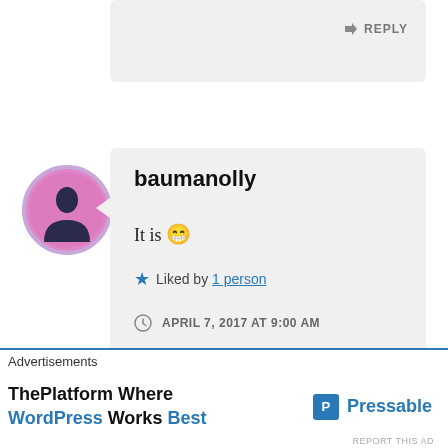[Figure (screenshot): Partial top comment box with REPLY button and arrow icon]
[Figure (photo): Circular avatar photo of a woman with pink/purple background]
baumanolly
It is 😁
★ Liked by 1 person
APRIL 7, 2017 AT 9:00 AM
Advertisements
ThePlatform Where WordPress Works Best
Pressable
REPORT THIS AD